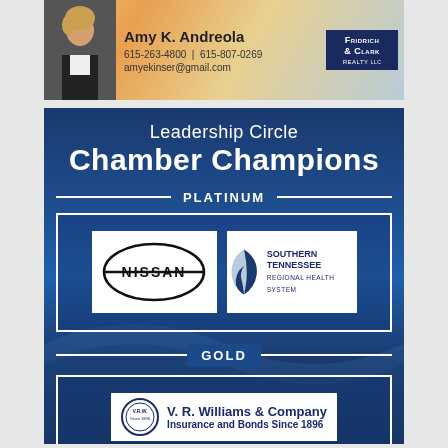[Figure (infographic): Real estate agent advertisement for Amy K. Andreola with Fridrich & Clark Realty LLC. Shows photo of agent, name, phone numbers 615-263-4800 and 615-807-0269, email amyekinser@gmail.com, and Fridrich & Clark Realty logo.]
[Figure (infographic): Leadership Circle Chamber Champions sponsor banner with dark blue background. Shows Platinum tier with Nissan and Southern Tennessee Regional Health System logos, and Gold tier with V. R. Williams & Company Insurance and Bonds Since 1896 logo.]